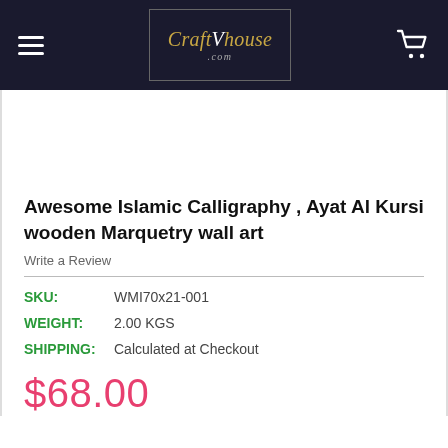CraftVhouse.com
[Figure (photo): Product image area (blank/white placeholder for Islamic calligraphy wall art photo)]
Awesome Islamic Calligraphy , Ayat Al Kursi wooden Marquetry wall art
Write a Review
SKU:   WMI70x21-001
WEIGHT:   2.00 KGS
SHIPPING:   Calculated at Checkout
$68.00